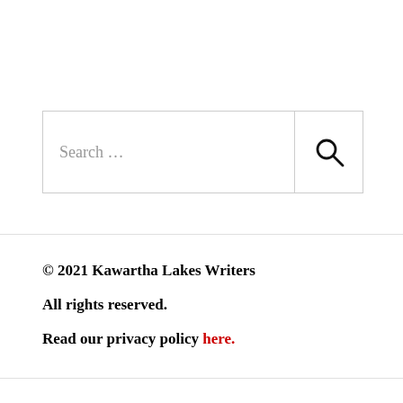[Figure (other): Search input box with a search icon button on the right, bordered with light gray lines]
© 2021 Kawartha Lakes Writers

All rights reserved.

Read our privacy policy here.